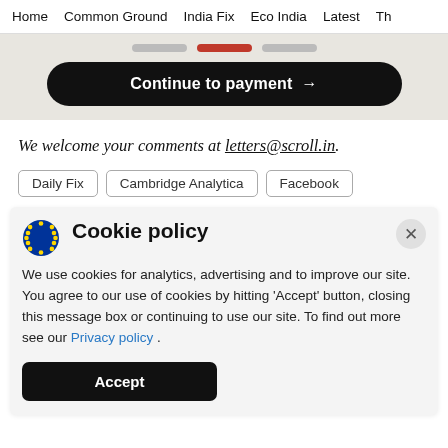Home   Common Ground   India Fix   Eco India   Latest   Th
[Figure (screenshot): Continue to payment button (black rounded rectangle with white bold text and arrow)]
We welcome your comments at letters@scroll.in.
Daily Fix
Cambridge Analytica
Facebook
Cookie policy
We use cookies for analytics, advertising and to improve our site. You agree to our use of cookies by hitting 'Accept' button, closing this message box or continuing to use our site. To find out more see our Privacy policy .
Accept